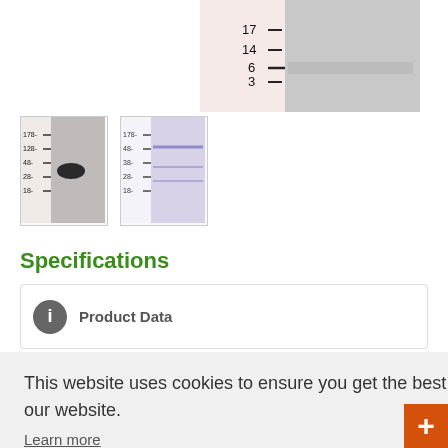[Figure (photo): Western blot image showing protein ladder bands at 17, 14, 6, 3 kDa markers on the left with a sample lane on the right]
[Figure (photo): Thumbnail 1: Western blot thumbnail showing bands with ladder markers]
[Figure (photo): Thumbnail 2: Western blot thumbnail showing blue-stained bands with ladder markers]
Specifications
Product Data
This website uses cookies to ensure you get the best experience on our website.
Learn more
Got it!
Live Chat Online